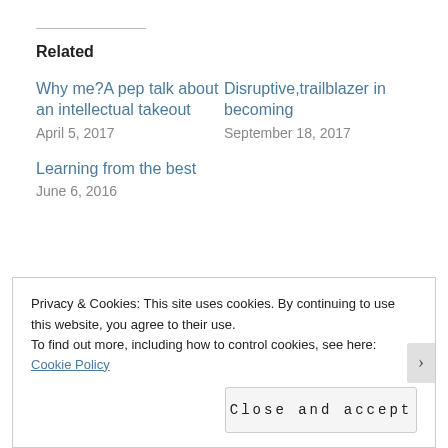Related
Why me?A pep talk about an intellectual takeout
April 5, 2017
Disruptive,trailblazer in becoming
September 18, 2017
Learning from the best
June 6, 2016
Privacy & Cookies: This site uses cookies. By continuing to use this website, you agree to their use.
To find out more, including how to control cookies, see here: Cookie Policy
Close and accept